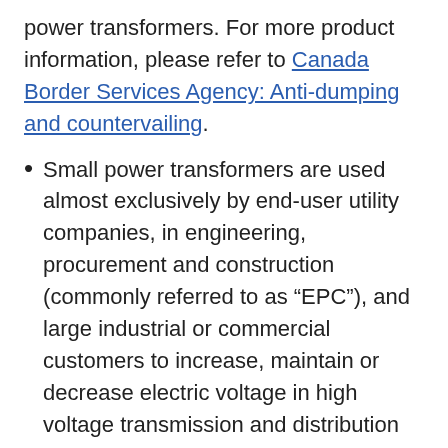power transformers. For more product information, please refer to Canada Border Services Agency: Anti-dumping and countervailing.
Small power transformers are used almost exclusively by end-user utility companies, in engineering, procurement and construction (commonly referred to as “EPC”), and large industrial or commercial customers to increase, maintain or decrease electric voltage in high voltage transmission and distribution systems.